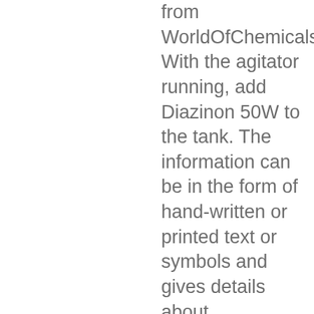from WorldOfChemicals. With the agitator running, add Diazinon 50W to the tank. The information can be in the form of hand-written or printed text or symbols and gives details about manufacturer's name, source of product, shelf-life, uses and the manner of disposal. Product labels in the food and beverage industry and automobiles are required to remain on a permanent basis. price diazinon. Make your work easier by using a label. Continue agitation